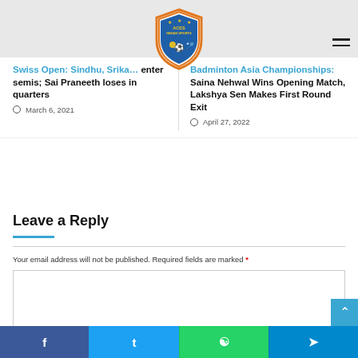[Figure (logo): Indian Sports website logo - shield shape with sports figures]
Swiss Open: Sindhu, Srika..., enter semis; Sai Praneeth loses in quarters
March 6, 2021
Badminton Asia Championships: Saina Nehwal Wins Opening Match, Lakshya Sen Makes First Round Exit
April 27, 2022
Leave a Reply
Your email address will not be published. Required fields are marked *